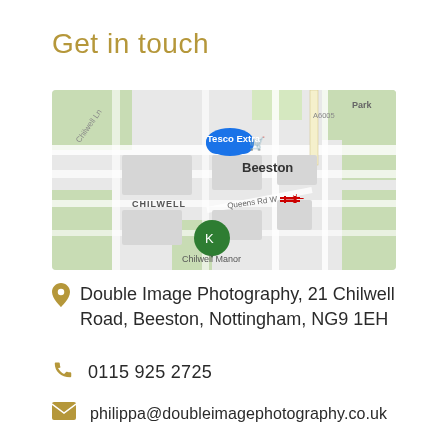Get in touch
[Figure (map): Google Maps screenshot showing Beeston area with Tesco Extra, Chilwell, Queens Rd W, and Chilwell Manor marked]
Double Image Photography, 21 Chilwell Road, Beeston, Nottingham, NG9 1EH
0115 925 2725
philippa@doubleimagephotography.co.uk